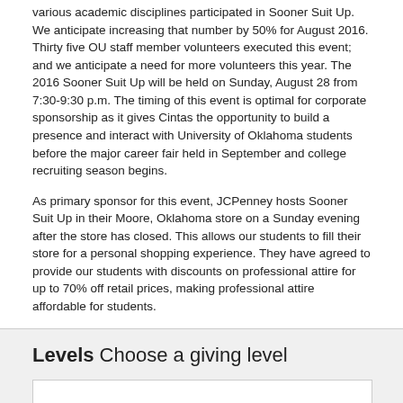various academic disciplines participated in Sooner Suit Up. We anticipate increasing that number by 50% for August 2016. Thirty five OU staff member volunteers executed this event; and we anticipate a need for more volunteers this year. The 2016 Sooner Suit Up will be held on Sunday, August 28 from 7:30-9:30 p.m. The timing of this event is optimal for corporate sponsorship as it gives Cintas the opportunity to build a presence and interact with University of Oklahoma students before the major career fair held in September and college recruiting season begins.
As primary sponsor for this event, JCPenney hosts Sooner Suit Up in their Moore, Oklahoma store on a Sunday evening after the store has closed. This allows our students to fill their store for a personal shopping experience. They have agreed to provide our students with discounts on professional attire for up to 70% off retail prices, making professional attire affordable for students.
Levels Choose a giving level